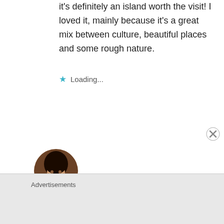it's definitely an island worth the visit! I loved it, mainly because it's a great mix between culture, beautiful places and some rough nature.
★ Loading...
Reply
[Figure (photo): Circular avatar photo of a smiling woman with dark hair]
Advertisements